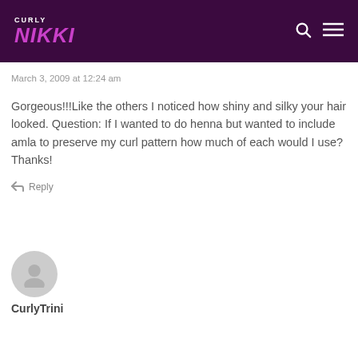CURLY NIKKI
March 3, 2009 at 12:24 am
Gorgeous!!!Like the others I noticed how shiny and silky your hair looked. Question: If I wanted to do henna but wanted to include amla to preserve my curl pattern how much of each would I use? Thanks!
Reply
CurlyTrini